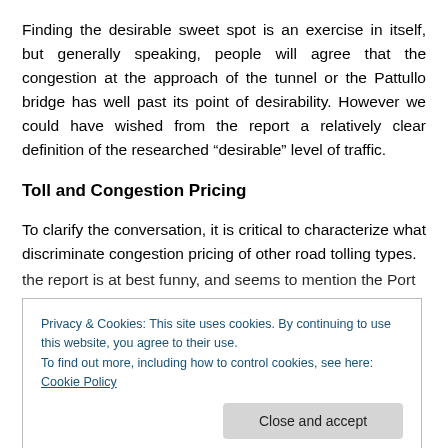Finding the desirable sweet spot is an exercise in itself, but generally speaking, people will agree that the congestion at the approach of the tunnel or the Pattullo bridge has well past its point of desirability. However we could have wished from the report a relatively clear definition of the researched “desirable” level of traffic.
Toll and Congestion Pricing
To clarify the conversation, it is critical to characterize what discriminate congestion pricing of other road tolling types.
the report is at best funny, and seems to mention the Port
Privacy & Cookies: This site uses cookies. By continuing to use this website, you agree to their use.
To find out more, including how to control cookies, see here: Cookie Policy
Close and accept
low level of traffic (night and week-end). below are the 3